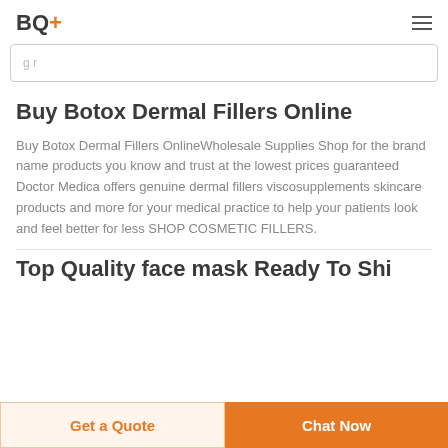BQ+
[Figure (screenshot): Search bar input field with partial text visible]
Buy Botox Dermal Fillers Online
Buy Botox Dermal Fillers OnlineWholesale Supplies Shop for the brand name products you know and trust at the lowest prices guaranteed Doctor Medica offers genuine dermal fillers viscosupplements skincare products and more for your medical practice to help your patients look and feel better for less SHOP COSMETIC FILLERS.
Top Quality face mask Ready To Shi…
Get a Quote
Chat Now